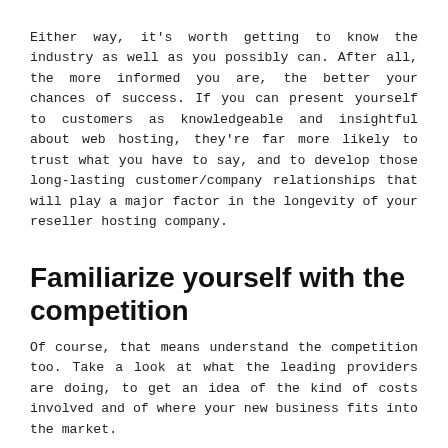Either way, it's worth getting to know the industry as well as you possibly can. After all, the more informed you are, the better your chances of success. If you can present yourself to customers as knowledgeable and insightful about web hosting, they're far more likely to trust what you have to say, and to develop those long-lasting customer/company relationships that will play a major factor in the longevity of your reseller hosting company.
Familiarize yourself with the competition
Of course, that means understand the competition too. Take a look at what the leading providers are doing, to get an idea of the kind of costs involved and of where your new business fits into the market.